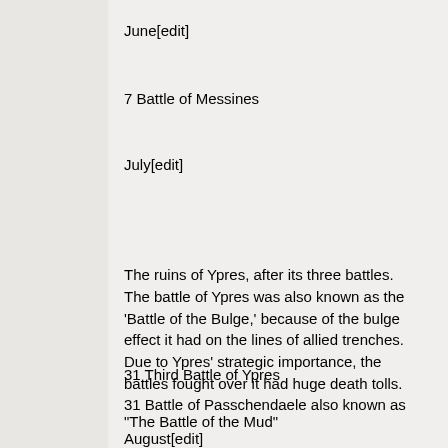June[edit]
7 Battle of Messines
July[edit]
The ruins of Ypres, after its three battles. The battle of Ypres was also known as the 'Battle of the Bulge,' because of the bulge effect it had on the lines of allied trenches. Due to Ypres' strategic importance, the battles fought over it had huge death tolls.
31 Third Battle of Ypres
31 Battle of Passchendaele also known as "The Battle of the Mud"
August[edit]